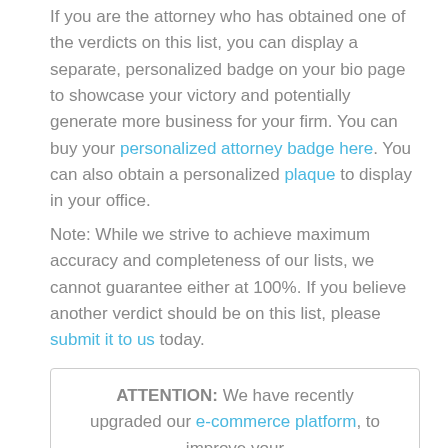If you are the attorney who has obtained one of the verdicts on this list, you can display a separate, personalized badge on your bio page to showcase your victory and potentially generate more business for your firm. You can buy your personalized attorney badge here. You can also obtain a personalized plaque to display in your office.
Note: While we strive to achieve maximum accuracy and completeness of our lists, we cannot guarantee either at 100%. If you believe another verdict should be on this list, please submit it to us today.
ATTENTION: We have recently upgraded our e-commerce platform, to improve your